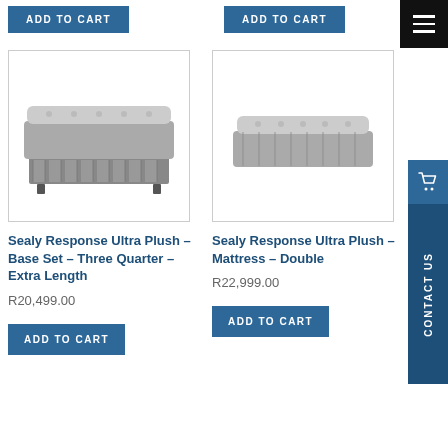[Figure (screenshot): ADD TO CART button top-left]
[Figure (screenshot): ADD TO CART button top-right]
[Figure (photo): Sealy Response Ultra Plush Base Set Three Quarter Extra Length mattress with base]
Sealy Response Ultra Plush – Base Set – Three Quarter – Extra Length
R20,499.00
[Figure (photo): Sealy Response Ultra Plush Mattress Double]
Sealy Response Ultra Plush – Mattress – Double
R22,999.00
[Figure (screenshot): ADD TO CART button bottom-left]
[Figure (screenshot): ADD TO CART button bottom-right]